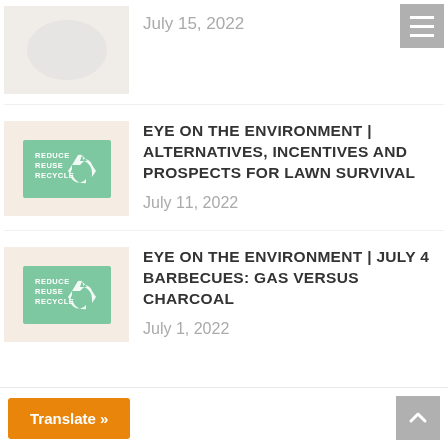[Figure (photo): Partially visible thumbnail image at top, light beige background with faint circular object]
July 15, 2022
[Figure (logo): Reduce Reuse Recycle green badge with recycling arrows logo]
EYE ON THE ENVIRONMENT | ALTERNATIVES, INCENTIVES AND PROSPECTS FOR LAWN SURVIVAL
July 11, 2022
[Figure (logo): Reduce Reuse Recycle green badge with recycling arrows logo]
EYE ON THE ENVIRONMENT | JULY 4 BARBECUES: GAS VERSUS CHARCOAL
July 1, 2022
Translate »